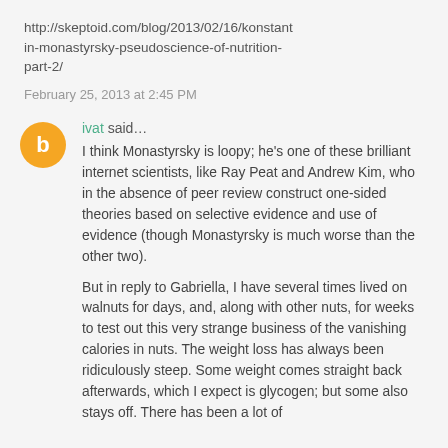http://skeptoid.com/blog/2013/02/16/konstantin-monastyrsky-pseudoscience-of-nutrition-part-2/
February 25, 2013 at 2:45 PM
ivat said...
I think Monastyrsky is loopy; he's one of these brilliant internet scientists, like Ray Peat and Andrew Kim, who in the absence of peer review construct one-sided theories based on selective evidence and use of evidence (though Monastyrsky is much worse than the other two).
But in reply to Gabriella, I have several times lived on walnuts for days, and, along with other nuts, for weeks to test out this very strange business of the vanishing calories in nuts. The weight loss has always been ridiculously steep. Some weight comes straight back afterwards, which I expect is glycogen; but some also stays off. There has been a lot of